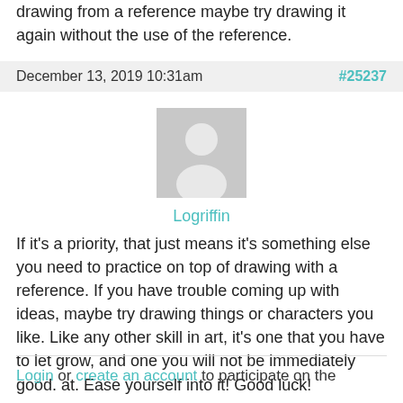drawing from a reference maybe try drawing it again without the use of the reference.
December 13, 2019 10:31am  #25237
[Figure (illustration): Default user avatar placeholder showing a grey silhouette of a person]
Logriffin
If it's a priority, that just means it's something else you need to practice on top of drawing with a reference. If you have trouble coming up with ideas, maybe try drawing things or characters you like. Like any other skill in art, it's one that you have to let grow, and one you will not be immediately good. at. Ease yourself into it! Good luck!
Login or create an account to participate on the